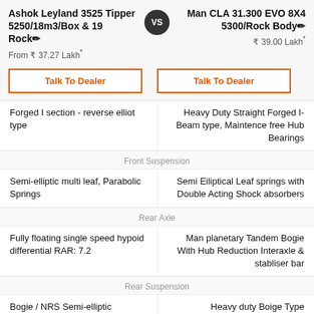Ashok Leyland 3525 Tipper 5250/18m3/Box & 19 Rock
Man CLA 31.300 EVO 8X4 5300/Rock Body
From ₹ 37.27 Lakh*
₹ 39.00 Lakh*
Talk To Dealer
Talk To Dealer
Forged I section - reverse elliot type
Heavy Duty Straight Forged I-Beam type, Maintence free Hub Bearings
Front Suspension
Semi-elliptic multi leaf, Parabolic Springs
Semi Eiliptical Leaf springs with Double Acting Shock absorbers
Rear Axle
Fully floating single speed hypoid differential RAR: 7.2
Man planetary Tandem Bogie With Hub Reduction Interaxle & stabliser bar
Rear Suspension
Bogie / NRS Semi-elliptic
Heavy duty Boige Type Suspension